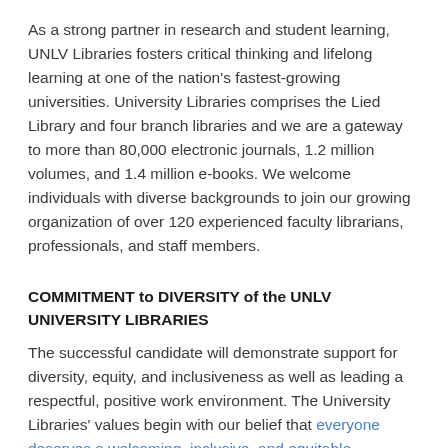As a strong partner in research and student learning, UNLV Libraries fosters critical thinking and lifelong learning at one of the nation's fastest-growing universities. University Libraries comprises the Lied Library and four branch libraries and we are a gateway to more than 80,000 electronic journals, 1.2 million volumes, and 1.4 million e-books. We welcome individuals with diverse backgrounds to join our growing organization of over 120 experienced faculty librarians, professionals, and staff members.
COMMITMENT to DIVERSITY of the UNLV UNIVERSITY LIBRARIES
The successful candidate will demonstrate support for diversity, equity, and inclusiveness as well as leading a respectful, positive work environment. The University Libraries' values begin with our belief that everyone deserves a welcoming, inclusive, and equitable environment where they are treated with respect and dignity. The Libraries extends its commitment to diversity and equity in employment and